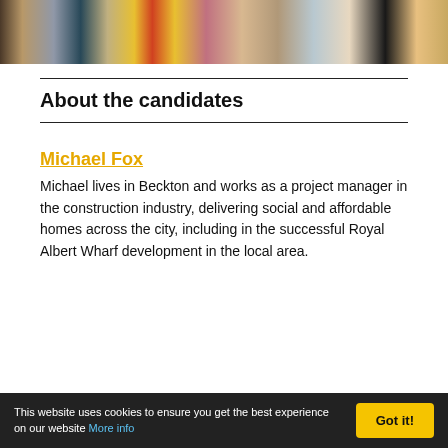[Figure (photo): A collage/strip of candidate photos, including people in various settings, some holding Stop Brexit signs.]
About the candidates
Michael Fox
Michael lives in Beckton and works as a project manager in the construction industry, delivering social and affordable homes across the city, including in the successful Royal Albert Wharf development in the local area.
This website uses cookies to ensure you get the best experience on our website More info